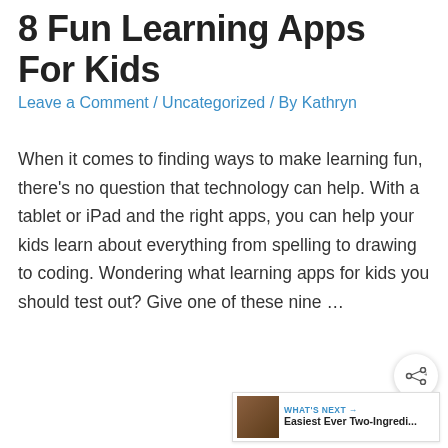8 Fun Learning Apps For Kids
Leave a Comment / Uncategorized / By Kathryn
When it comes to finding ways to make learning fun, there's no question that technology can help. With a tablet or iPad and the right apps, you can help your kids learn about everything from spelling to drawing to coding. Wondering what learning apps for kids you should test out? Give one of these nine …
Read More »
7 Tips For Throwing a Successful Kids Birthday Party